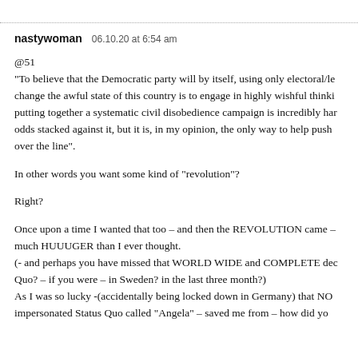nastywoman   06.10.20 at 6:54 am
@51
"To believe that the Democratic party will by itself, using only electoral/le change the awful state of this country is to engage in highly wishful thinki putting together a systematic civil disobedience campaign is incredibly har odds stacked against it, but it is, in my opinion, the only way to help push over the line".
In other words you want some kind of “revolution”?
Right?
Once upon a time I wanted that too – and then the REVOLUTION came – much HUUUGER than I ever thought.
(- and perhaps you have missed that WORLD WIDE and COMPLETE dec Quo? – if you were – in Sweden? in the last three month?)
As I was so lucky -(accidentally being locked down in Germany) that NO impersonated Status Quo called “Angela” – saved me from – how did yo